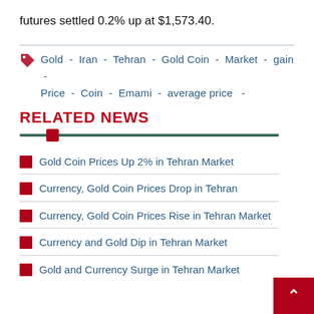futures settled 0.2% up at $1,573.40.
Gold - Iran - Tehran - Gold Coin - Market - gain - Price - Coin - Emami - average price -
RELATED NEWS
Gold Coin Prices Up 2% in Tehran Market
Currency, Gold Coin Prices Drop in Tehran
Currency, Gold Coin Prices Rise in Tehran Market
Currency and Gold Dip in Tehran Market
Gold and Currency Surge in Tehran Market